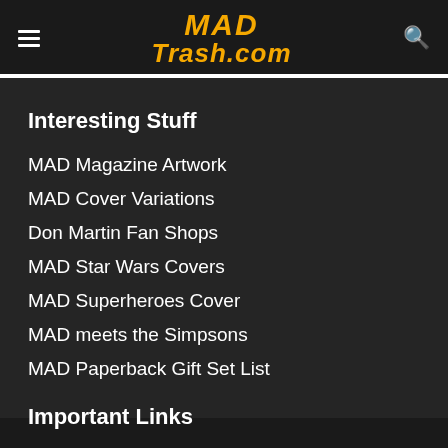MAD Trash.com
Interesting Stuff
MAD Magazine Artwork
MAD Cover Variations
Don Martin Fan Shops
MAD Star Wars Covers
MAD Superheroes Cover
MAD meets the Simpsons
MAD Paperback Gift Set List
Important Links